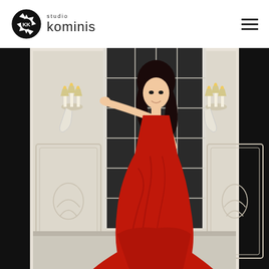[Figure (logo): Studio Kominis logo with camera shutter icon and text 'studio kominis']
[Figure (photo): Woman in a dramatic red strapless ball gown with mermaid silhouette, posing in an elegant white classical interior with ornate wall sconces and glass-paned doors. Dark hair, smiling, hand extended to the side against the door frame.]